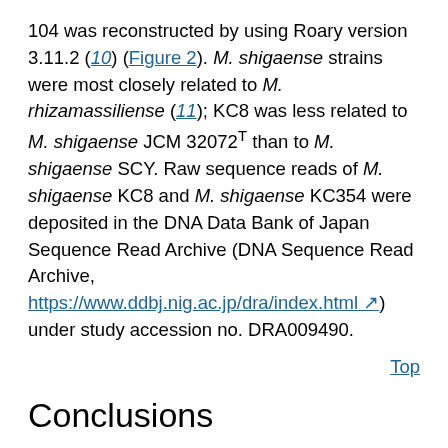104 was reconstructed by using Roary version 3.11.2 (10) (Figure 2). M. shigaense strains were most closely related to M. rhizamassiliense (11); KC8 was less related to M. shigaense JCM 32072T than to M. shigaense SCY. Raw sequence reads of M. shigaense KC8 and M. shigaense KC354 were deposited in the DNA Data Bank of Japan Sequence Read Archive (DNA Sequence Read Archive, https://www.ddbj.nig.ac.jp/dra/index.html) under study accession no. DRA009490.
Top
Conclusions
NB-type infection with M. shigaense is considered sufficiently indolent that careful longitudinal appraisal without therapy is safe and poses little risk for rapid